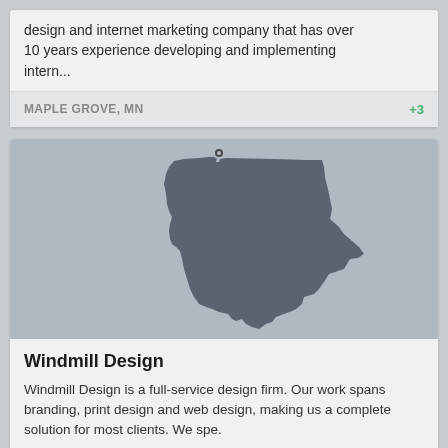design and internet marketing company that has over 10 years experience developing and implementing intern...
MAPLE GROVE, MN
+3
[Figure (map): Silhouette map of Minnesota state in dark gray on a light gray background with a location pin marker near the top center]
Windmill Design
Windmill Design is a full-service design firm. Our work spans branding, print design and web design, making us a complete solution for most clients. We spe.